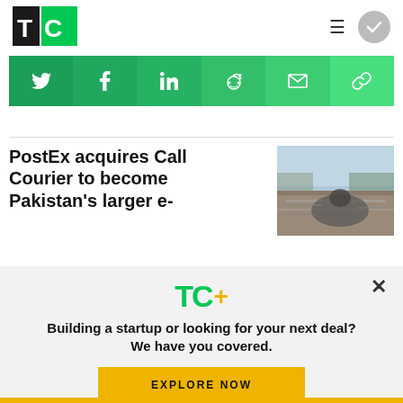TechCrunch logo with hamburger menu and user avatar
[Figure (screenshot): Social share bar with Twitter, Facebook, LinkedIn, Reddit, Email, and Link buttons on green gradient background]
PostEx acquires Call Courier to become Pakistan's larger e-
[Figure (photo): Person riding a motorcycle on a busy road, motion blurred]
[Figure (screenshot): TC+ promotional modal overlay with logo, tagline and explore button]
Building a startup or looking for your next deal? We have you covered.
EXPLORE NOW